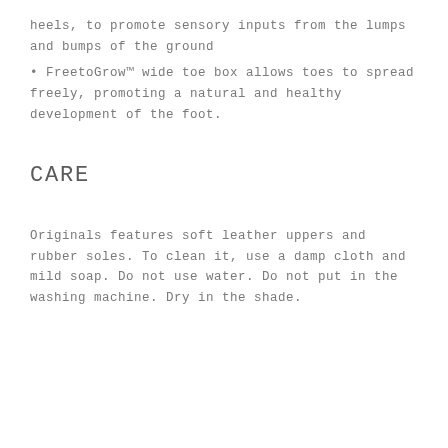heels, to promote sensory inputs from the lumps and bumps of the ground
• FreetoGrow™ wide toe box allows toes to spread freely, promoting a natural and healthy development of the foot.
CARE
Originals features soft leather uppers and rubber soles. To clean it, use a damp cloth and mild soap. Do not use water. Do not put in the washing machine. Dry in the shade.